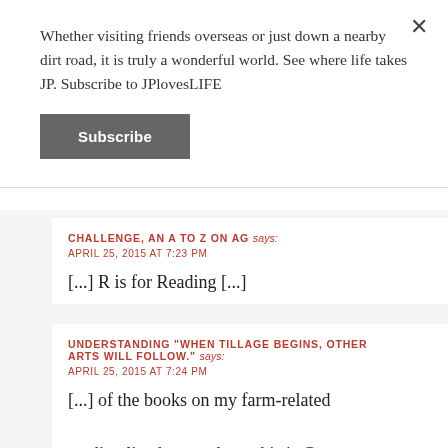Whether visiting friends overseas or just down a nearby dirt road, it is truly a wonderful world. See where life takes JP. Subscribe to JPlovesLIFE
Subscribe
CHALLENGE, AN A TO Z ON AG says:
APRIL 25, 2015 AT 7:23 PM
[...] R is for Reading [...]
UNDERSTANDING "WHEN TILLAGE BEGINS, OTHER ARTS WILL FOLLOW." says:
APRIL 25, 2015 AT 7:24 PM
[...] of the books on my farm-related reading list that speaks to this is Guns,